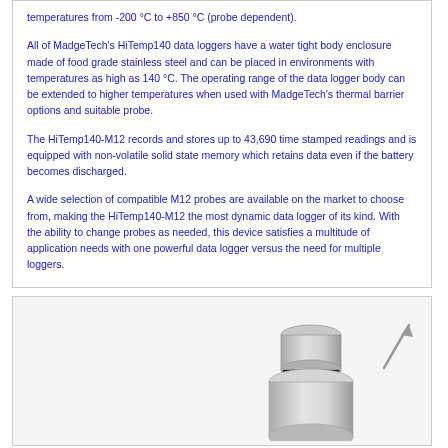temperatures from -200 °C to +850 °C (probe dependent).
All of MadgeTech's HiTemp140 data loggers have a water tight body enclosure made of food grade stainless steel and can be placed in environments with temperatures as high as 140 °C. The operating range of the data logger body can be extended to higher temperatures when used with MadgeTech's thermal barrier options and suitable probe.
The HiTemp140-M12 records and stores up to 43,690 time stamped readings and is equipped with non-volatile solid state memory which retains data even if the battery becomes discharged.
A wide selection of compatible M12 probes are available on the market to choose from, making the HiTemp140-M12 the most dynamic data logger of its kind. With the ability to change probes as needed, this device satisfies a multitude of application needs with one powerful data logger versus the need for multiple loggers.
[Figure (photo): Photograph of a stainless steel cylindrical data logger device (HiTemp140-M12) with an arrow/cursor icon overlaid, shown on a light gray background.]